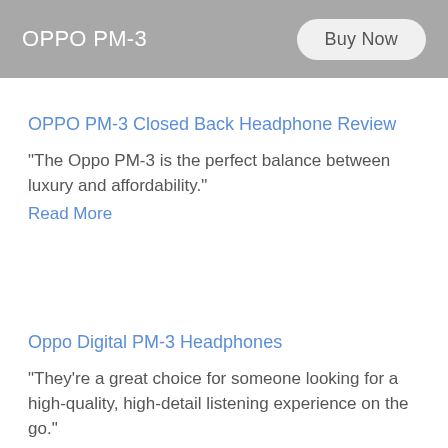OPPO PM-3
OPPO PM-3 Closed Back Headphone Review
"The Oppo PM-3 is the perfect balance between luxury and affordability."
Read More
Oppo Digital PM-3 Headphones
"They're a great choice for someone looking for a high-quality, high-detail listening experience on the go."
Read More